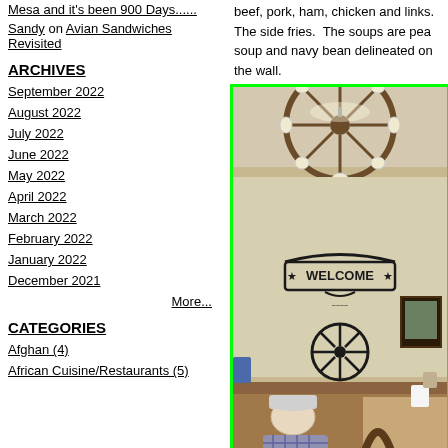Mesa and it's been 900 Days......
Sandy on Avian Sandwiches Revisited
ARCHIVES
September 2022
August 2022
July 2022
June 2022
May 2022
April 2022
March 2022
February 2022
January 2022
December 2021
More...
CATEGORIES
Afghan (4)
African Cuisine/Restaurants (5)
beef, pork, ham, chicken and links.  The side fries.  The soups are pea soup and navy bean delineated on the wall.
[Figure (photo): Interior of a western-themed restaurant with a wagon wheel chandelier on the ceiling, a 'Welcome' metal sign on the wall, a decorative wagon wheel on the wall, wooden booth seating, and a person in a plaid shirt sitting in a booth.]